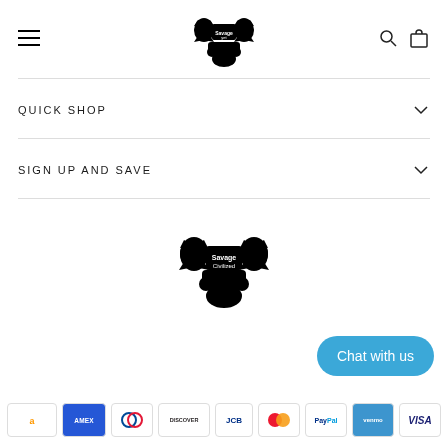[Figure (logo): Savage Yet Civilized brand logo — two lions flanking text — in header]
QUICK SHOP
SIGN UP AND SAVE
[Figure (logo): Savage Yet Civilized brand logo — two lions flanking text — in footer area]
Chat with us
[Figure (other): Payment method icons: Amazon Pay, American Express, Diners Club, Discover, JCB, Mastercard, PayPal, Venmo, Visa]